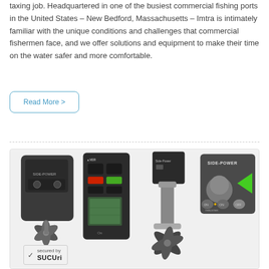taxing job. Headquartered in one of the busiest commercial fishing ports in the United States – New Bedford, Massachusetts – Imtra is intimately familiar with the unique conditions and challenges that commercial fishermen face, and we offer solutions and equipment to make their time on the water safer and more comfortable.
Read More >
[Figure (photo): Product image showing Side-Power marine thruster components including a thruster unit with propeller, a control panel/joystick, a handheld remote control, and a thruster body unit against a light background.]
secured by SUCURI